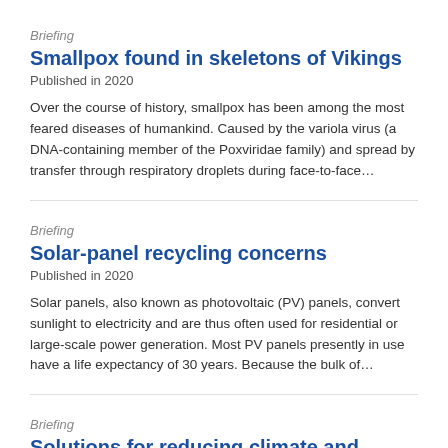Briefing
Smallpox found in skeletons of Vikings
Published in 2020
Over the course of history, smallpox has been among the most feared diseases of humankind. Caused by the variola virus (a DNA-containing member of the Poxviridae family) and spread by transfer through respiratory droplets during face-to-face…
Briefing
Solar-panel recycling concerns
Published in 2020
Solar panels, also known as photovoltaic (PV) panels, convert sunlight to electricity and are thus often used for residential or large-scale power generation. Most PV panels presently in use have a life expectancy of 30 years. Because the bulk of…
Briefing
Solutions for reducing climate and health effects of